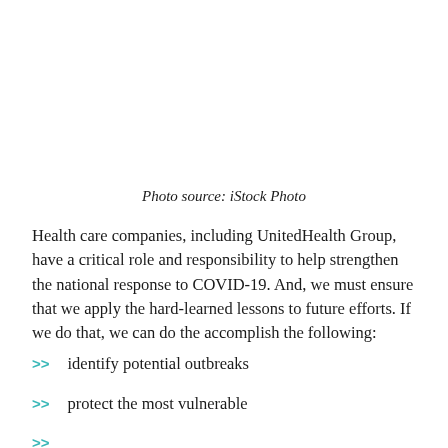Photo source: iStock Photo
Health care companies, including UnitedHealth Group, have a critical role and responsibility to help strengthen the national response to COVID-19. And, we must ensure that we apply the hard-learned lessons to future efforts. If we do that, we can do the accomplish the following:
identify potential outbreaks
protect the most vulnerable